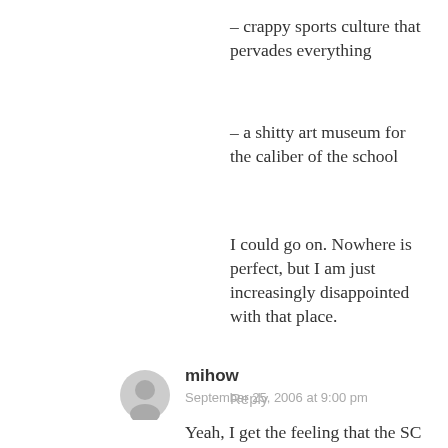– crappy sports culture that pervades everything
– a shitty art museum for the caliber of the school
I could go on. Nowhere is perfect, but I am just increasingly disappointed with that place.
Reply
mihow
September 25, 2006 at 9:00 pm
Yeah, I get the feeling that the SC